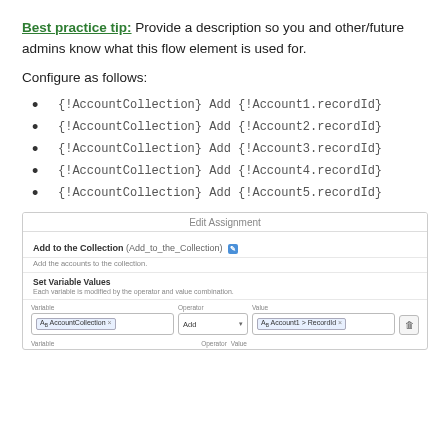Best practice tip: Provide a description so you and other/future admins know what this flow element is used for.
Configure as follows:
{!AccountCollection} Add {!Account1.recordId}
{!AccountCollection} Add {!Account2.recordId}
{!AccountCollection} Add {!Account3.recordId}
{!AccountCollection} Add {!Account4.recordId}
{!AccountCollection} Add {!Account5.recordId}
[Figure (screenshot): Edit Assignment dialog screenshot showing Add to the Collection (Add_to_the_Collection) with Set Variable Values section. Variable field shows AccountCollection tag, Operator shows Add dropdown, Value shows Account1 > RecordId tag. Below shows Variable, Operator, Value labels for next row.]